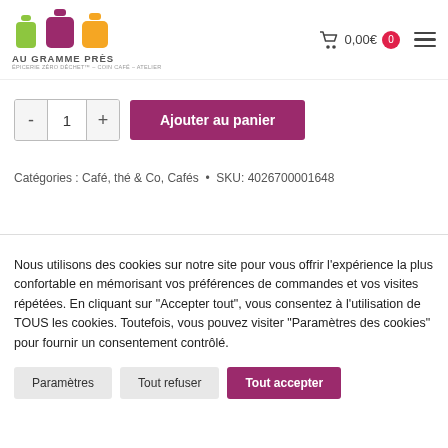[Figure (logo): Au Gramme Près logo with three colored bottles (green, purple, yellow) and text 'AU GRAMME PRÈS']
0,00€  0
[Figure (illustration): Cart icon and burger menu icon]
- 1 +  Ajouter au panier
Catégories : Café, thé & Co, Cafés  •  SKU: 4026700001648
Nous utilisons des cookies sur notre site pour vous offrir l'expérience la plus confortable en mémorisant vos préférences de commandes et vos visites répétées. En cliquant sur "Accepter tout", vous consentez à l'utilisation de TOUS les cookies. Toutefois, vous pouvez visiter "Paramètres des cookies" pour fournir un consentement contrôlé.
Paramètres
Tout refuser
Tout accepter